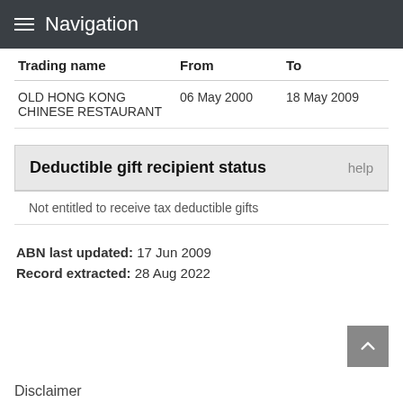Navigation
| Trading name | From | To |
| --- | --- | --- |
| OLD HONG KONG CHINESE RESTAURANT | 06 May 2000 | 18 May 2009 |
Deductible gift recipient status
Not entitled to receive tax deductible gifts
ABN last updated: 17 Jun 2009
Record extracted: 28 Aug 2022
Disclaimer